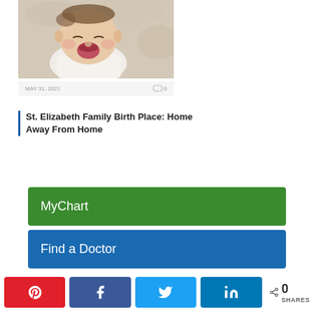[Figure (photo): Photo of a newborn baby yawning, lying on a light patterned background, wearing a white onesie]
MAY 31, 2021    0
St. Elizabeth Family Birth Place: Home Away From Home
MyChart
Find a Doctor
0 SHARES